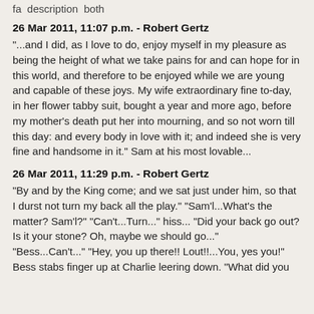fa  description  both
26 Mar 2011, 11:07 p.m. - Robert Gertz
"...and I did, as I love to do, enjoy myself in my pleasure as being the height of what we take pains for and can hope for in this world, and therefore to be enjoyed while we are young and capable of these joys. My wife extraordinary fine to-day, in her flower tabby suit, bought a year and more ago, before my mother's death put her into mourning, and so not worn till this day: and every body in love with it; and indeed she is very fine and handsome in it." Sam at his most lovable...
26 Mar 2011, 11:29 p.m. - Robert Gertz
"By and by the King come; and we sat just under him, so that I durst not turn my back all the play." "Sam'l...What's the matter? Sam'l?" "Can't...Turn..." hiss... "Did your back go out? Is it your stone? Oh, maybe we should go..."
"Bess...Can't..." "Hey, you up there!! Lout!!...You, yes you!" Bess stabs finger up at Charlie leering down. "What did you